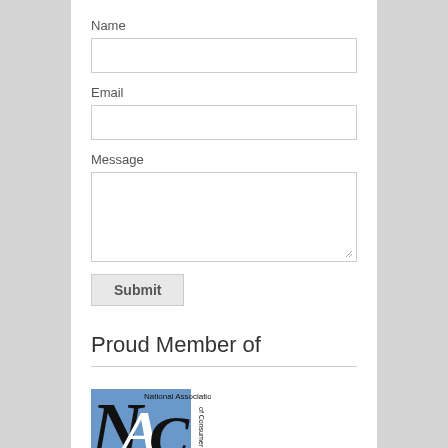Name
Email
Message
Submit
Proud Member of
[Figure (logo): National Association of Consumer Bankruptcy logo — blue rectangle with large N, A, C letters and text 'National Association of Consumer B...' partially visible]